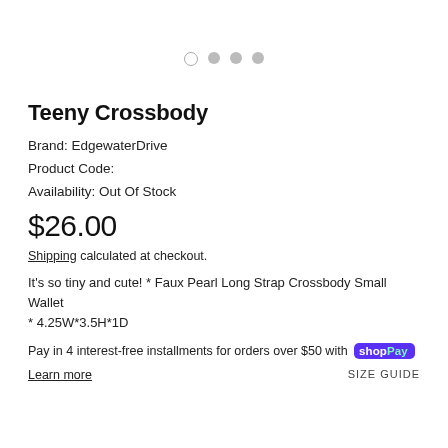[Figure (other): Image carousel dot indicators: one empty circle and three filled grey circles]
Teeny Crossbody
Brand: EdgewaterDrive
Product Code:
Availability: Out Of Stock
$26.00
Shipping calculated at checkout.
It's so tiny and cute! * Faux Pearl Long Strap Crossbody Small Wallet * 4.25W*3.5H*1D
Pay in 4 interest-free installments for orders over $50 with Shop Pay
Learn more
SIZE GUIDE